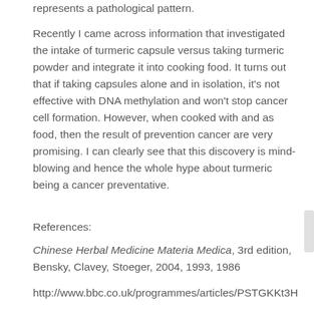represents a pathological pattern.
Recently I came across information that investigated the intake of turmeric capsule versus taking turmeric powder and integrate it into cooking food. It turns out that if taking capsules alone and in isolation, it’s not effective with DNA methylation and won’t stop cancer cell formation. However, when cooked with and as food, then the result of prevention cancer are very promising. I can clearly see that this discovery is mind-blowing and hence the whole hype about turmeric being a cancer preventative.
References:
Chinese Herbal Medicine Materia Medica, 3rd edition, Bensky, Clavey, Stoeger, 2004, 1993, 1986
http://www.bbc.co.uk/programmes/articles/PSTGKKt3H